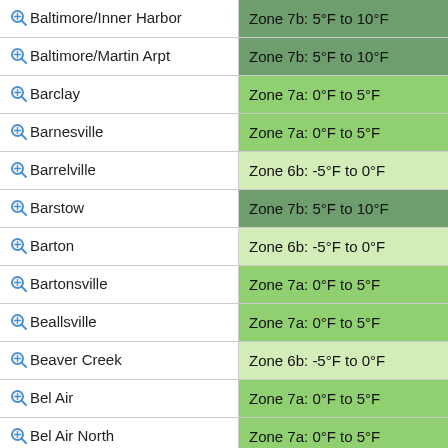| Location | Zone |
| --- | --- |
| Baltimore/Inner Harbor | Zone 7b: 5°F to 10°F |
| Baltimore/Martin Arpt | Zone 7b: 5°F to 10°F |
| Barclay | Zone 7a: 0°F to 5°F |
| Barnesville | Zone 7a: 0°F to 5°F |
| Barrelville | Zone 6b: -5°F to 0°F |
| Barstow | Zone 7b: 5°F to 10°F |
| Barton | Zone 6b: -5°F to 0°F |
| Bartonsville | Zone 7a: 0°F to 5°F |
| Beallsville | Zone 7a: 0°F to 5°F |
| Beaver Creek | Zone 6b: -5°F to 0°F |
| Bel Air | Zone 7a: 0°F to 5°F |
| Bel Air North | Zone 7a: 0°F to 5°F |
| Bel Air South | Zone 7a: 0°F to 5°F |
| Bel Alton | Zone 7a: 0°F to 5°F |
| Belcamp | Zone 7a: 0°F to 5°F |